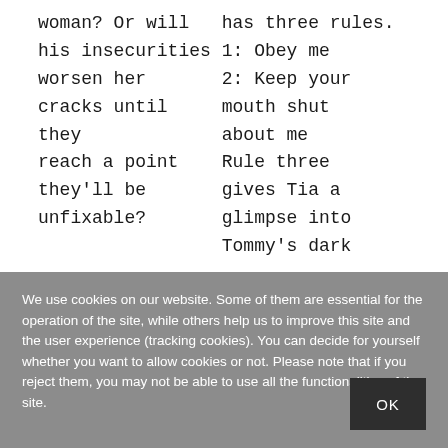woman? Or will his insecurities worsen her cracks until they reach a point they'll be unfixable?
has three rules. 1: Obey me 2: Keep your mouth shut about me Rule three gives Tia a glimpse into Tommy's dark
We use cookies on our website. Some of them are essential for the operation of the site, while others help us to improve this site and the user experience (tracking cookies). You can decide for yourself whether you want to allow cookies or not. Please note that if you reject them, you may not be able to use all the functionalities of the site.